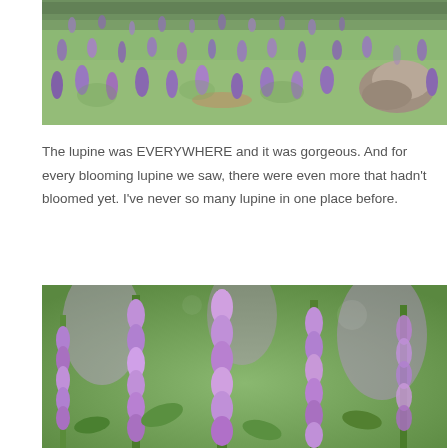[Figure (photo): Aerial/wide-angle view of a hillside covered in purple lupine wildflowers mixed with green foliage, with large boulders visible on the right side.]
The lupine was EVERYWHERE and it was gorgeous. And for every blooming lupine we saw, there were even more that hadn't bloomed yet. I've never so many lupine in one place before.
[Figure (photo): Close-up photograph of purple lupine flowers in full bloom, with green stems and leaves visible, multiple flower stalks rising up against a soft-focus background of more lupine.]